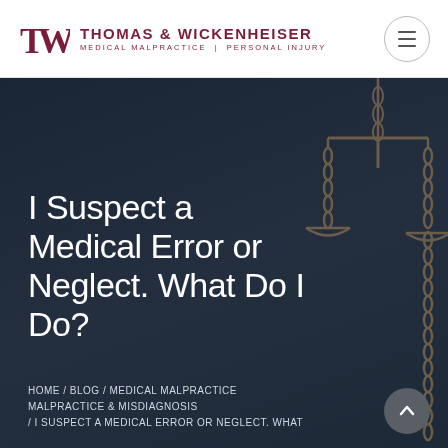[Figure (logo): Thomas & Wickenheiser law firm logo with TW monogram in dark red and firm name with tagline 'Medical Malpractice | Personal Injury']
I Suspect a Medical Error or Neglect. What Do I Do?
HOME / BLOG / MEDICAL MALPRACTICE MALPRACTICE & MISDIAGNOSIS / I SUSPECT A MEDICAL ERROR OR NEGLECT. WHAT